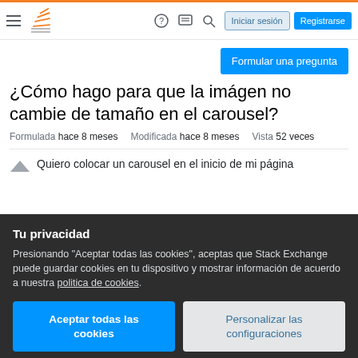Stack Exchange navigation bar with menu, logo, help, chat, search, Iniciar sesión, Registrarse
Formular una pregunta
¿Cómo hago para que la imágen no cambie de tamaño en el carousel?
Formulada hace 8 meses   Modificada hace 8 meses   Vista 52 veces
Quiero colocar un carousel en el inicio de mi página
Tu privacidad
Presionando "Aceptar todas las cookies", aceptas que Stack Exchange puede guardar cookies en tu dispositivo y mostrar información de acuerdo a nuestra politica de cookies.
Aceptar todas las cookies
Personalizar las configuraciones
Gracias por la ayuda, un saludo!